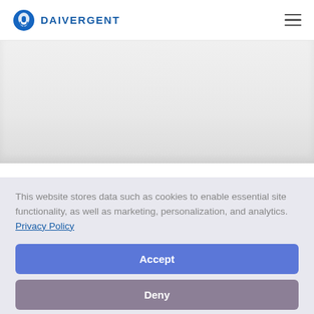DAIVERGENT
[Figure (screenshot): Grey hero/banner area below the navigation header]
[Figure (infographic): Blue accessibility button with person/wheelchair icon on the left edge]
This website stores data such as cookies to enable essential site functionality, as well as marketing, personalization, and analytics. Privacy Policy
Accept
Deny